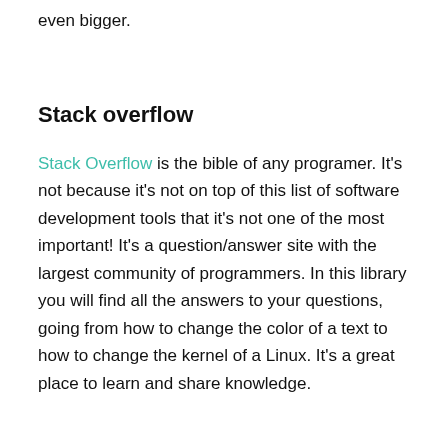even bigger.
Stack overflow
Stack Overflow is the bible of any programer. It's not because it's not on top of this list of software development tools that it's not one of the most important! It's a question/answer site with the largest community of programmers. In this library you will find all the answers to your questions, going from how to change the color of a text to how to change the kernel of a Linux. It's a great place to learn and share knowledge.
Sublime Text